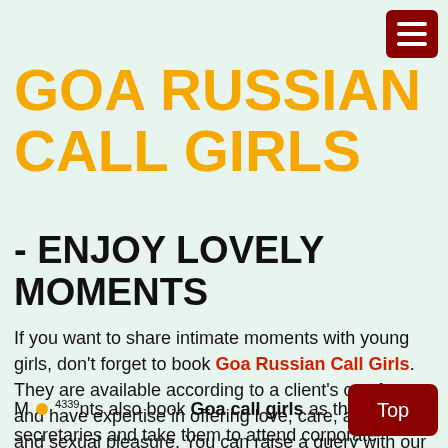GOA RUSSIAN CALL GIRLS
- ENJOY LOVELY MOMENTS
If you want to share intimate moments with young girls, don't forget to book Goa Russian Call Girls. They are available according to a client's comfort and have expertise in offering love, care, attention, and sexual pleasure. You can raise a query with our agency about the charges and benefits you'll get after hiring a sexy escort.
M ● 4339 nts also book Goa call girls as their ss secretaries and take them to attend corporate